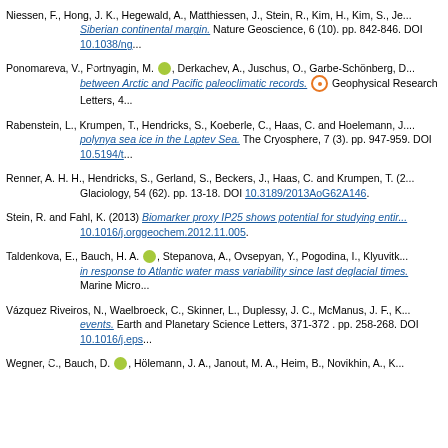Niessen, F., Hong, J. K., Hegewald, A., Matthiessen, J., Stein, R., Kim, H., Kim, S., Je... Siberian continental margin. Nature Geoscience, 6 (10). pp. 842-846. DOI 10.1038/ng...
Ponomareva, V., Portnyagin, M. [ORCID], Derkachev, A., Juschus, O., Garbe-Schönberg, D... between Arctic and Pacific paleoclimatic records. [OA] Geophysical Research Letters, 4...
Rabenstein, L., Krumpen, T., Hendricks, S., Koeberle, C., Haas, C. and Hoelemann, J.... polynya sea ice in the Laptev Sea. The Cryosphere, 7 (3). pp. 947-959. DOI 10.5194/t...
Renner, A. H. H., Hendricks, S., Gerland, S., Beckers, J., Haas, C. and Krumpen, T. (2... Glaciology, 54 (62). pp. 13-18. DOI 10.3189/2013AoG62A146.
Stein, R. and Fahl, K. (2013) Biomarker proxy IP25 shows potential for studying entir... 10.1016/j.orggeochem.2012.11.005.
Taldenkova, E., Bauch, H. A. [ORCID], Stepanova, A., Ovsepyan, Y., Pogodina, I., Klyuvitk... in response to Atlantic water mass variability since last deglacial times. Marine Micro...
Vázquez Riveiros, N., Waelbroeck, C., Skinner, L., Duplessy, J. C., McManus, J. F., K... events. Earth and Planetary Science Letters, 371-372 . pp. 258-268. DOI 10.1016/j.eps...
Wegner, C., Bauch, D. [ORCID], Hölemann, J. A., Janout, M. A., Heim, B., Novikhin, A., K...